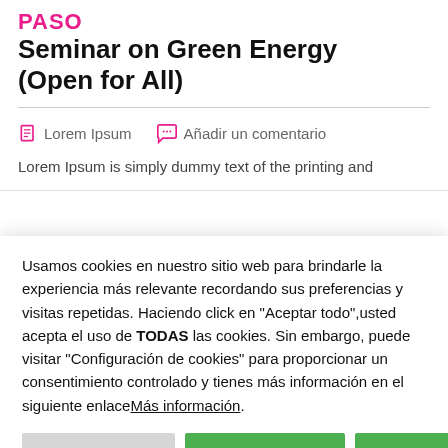PASO
Seminar on Green Energy (Open for All)
Lorem Ipsum   Añadir un comentario
Lorem Ipsum is simply dummy text of the printing and
Usamos cookies en nuestro sitio web para brindarle la experiencia más relevante recordando sus preferencias y visitas repetidas. Haciendo click en "Aceptar todo",usted acepta el uso de TODAS las cookies. Sin embargo, puede visitar "Configuración de cookies" para proporcionar un consentimiento controlado y tienes más información en el siguiente enlaceMás información.